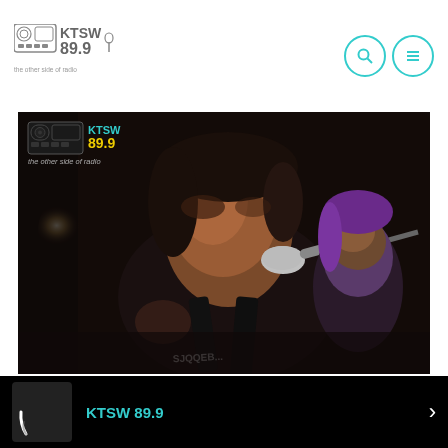[Figure (logo): KTSW 89.9 radio station logo with boombox icon, station name and tagline 'the other side of radio']
[Figure (photo): Concert photo of a singer holding a microphone performing live on stage, wearing a dark tank top with tattoos visible, another person with purple hair behind them, KTSW 89.9 branding overlay in top left corner]
KTSW 89.9